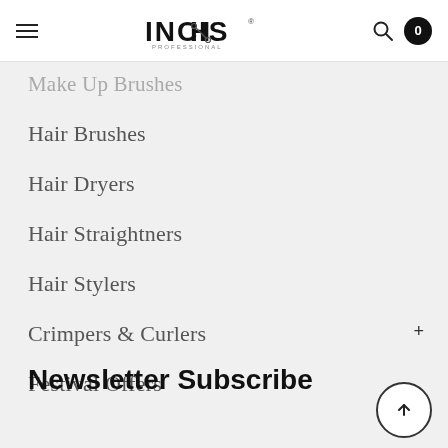INCHIS Professional
Make Up Brushes
Hair Brushes
Hair Dryers
Hair Straightners
Hair Stylers
Crimpers & Curlers
Festival Offers
Newsletter Subscribe